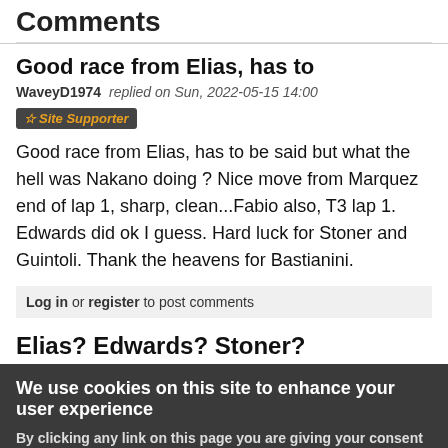Comments
Good race from Elias, has to
WaveyD1974 replied on Sun, 2022-05-15 14:00   ☆ Site Supporter
Good race from Elias, has to be said but what the hell was Nakano doing ? Nice move from Marquez end of lap 1, sharp, clean...Fabio also, T3 lap 1. Edwards did ok I guess. Hard luck for Stoner and Guintoli. Thank the heavens for Bastianini.
Log in or register to post comments
Elias? Edwards? Stoner?
We use cookies on this site to enhance your user experience
By clicking any link on this page you are giving your consent for us to set cookies. No, give me more info
OK, I agree